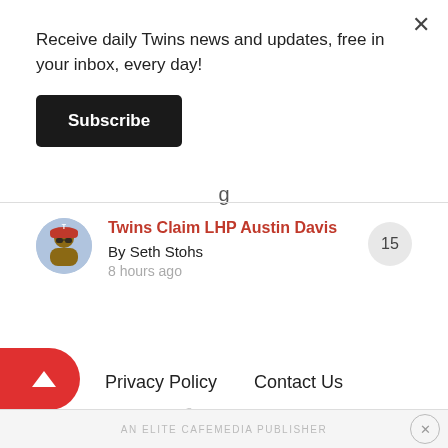Receive daily Twins news and updates, free in your inbox, every day!
Subscribe
Twins Claim LHP Austin Davis
By Seth Stohs
8 hours ago
Privacy Policy   Contact Us
Copyright © 2022 DiamondCentric
Powered by Invision Community
AN ELITE CAFEMEDIA PUBLISHER